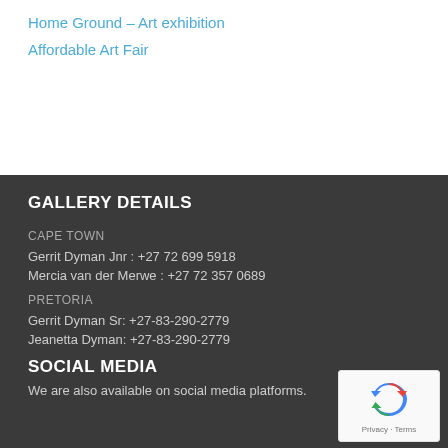Home Ground – Art exhibition
Affordable Art Fair
GALLERY DETAILS
CAPE TOWN
Gerrit Dyman Jnr : +27 72 699 5918
Mercia van der Merwe : +27 72 357 0689
PRETORIA
Gerrit Dyman Sr: +27-83-290-2779
Jeanetta Dyman: +27-83-290-2779
SOCIAL MEDIA
We are also available on social media platforms.